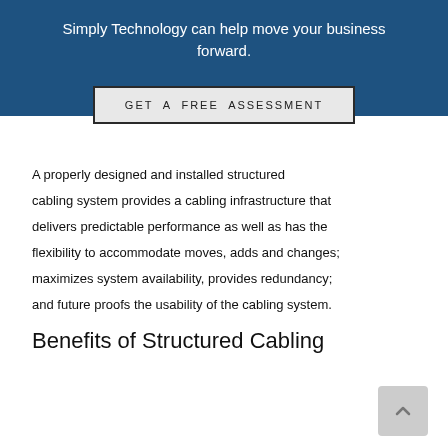Simply Technology can help move your business forward.
GET A FREE ASSESSMENT
A properly designed and installed structured cabling system provides a cabling infrastructure that delivers predictable performance as well as has the flexibility to accommodate moves, adds and changes; maximizes system availability, provides redundancy; and future proofs the usability of the cabling system.
Benefits of Structured Cabling